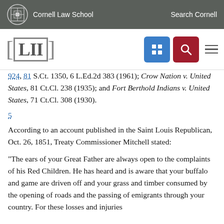Cornell Law School  Search Cornell
[LII]
924, 81 S.Ct. 1350, 6 L.Ed.2d 383 (1961); Crow Nation v. United States, 81 Ct.Cl. 238 (1935); and Fort Berthold Indians v. United States, 71 Ct.Cl. 308 (1930).
5
According to an account published in the Saint Louis Republican, Oct. 26, 1851, Treaty Commissioner Mitchell stated:
"The ears of your Great Father are always open to the complaints of his Red Children. He has heard and is aware that your buffalo and game are driven off and your grass and timber consumed by the opening of roads and the passing of emigrants through your country. For these losses and injuries